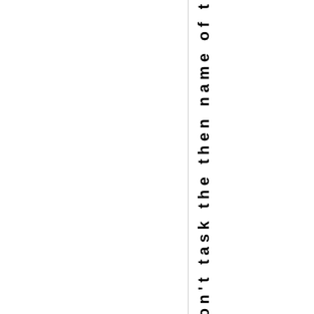r. Please don't task the then name of t